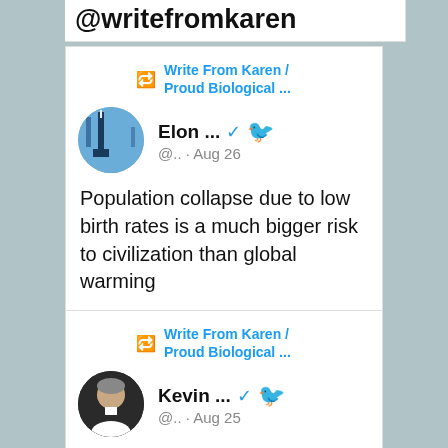@writefromkaren
Write From Karen / Proud Biological ... Elon ... @.. · Aug 26
Population collapse due to low birth rates is a much bigger risk to civilization than global warming
42K 342K
Write From Karen / Proud Biological ... Kevin ... @.. · Aug 25
I don't care about your debt.
You went to college, you're supposed to be smarter than me, figure it out